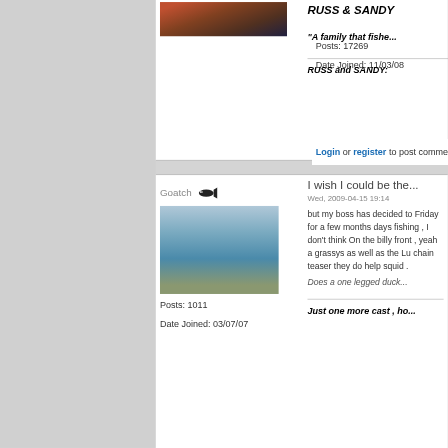[Figure (photo): Profile photo of user RUSS & SANDY showing people at a table]
Posts: 17269
Date Joined: 11/03/08
RUSS & SANDY
"A family that fishe...
RUSS and SANDY:
Login or register to post comments
Goatch
[Figure (photo): Profile photo of user Goatch showing a man fishing on rocks by the sea]
Posts: 1011
Date Joined: 03/07/07
I wish I could be the...
Wed, 2009-04-15 19:14
but my boss has decided to Friday for a few months days fishing , I don't think On the billy front , yeah a grassys as well as the Lu chain teaser they do help squid .
Does a one legged duck...
Just one more cast , ho...